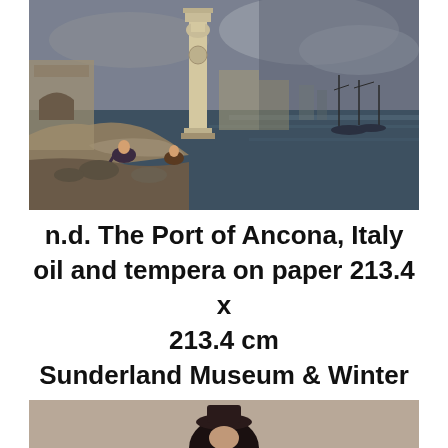[Figure (illustration): Painting depicting the Port of Ancona, Italy — a harbour scene with a tall ornate column/monument at center-left, ruins and archway behind, figures resting on rocks in the foreground, and ships sailing on a dark sea under a cloudy sky at right.]
n.d. The Port of Ancona, Italy oil and tempera on paper 213.4 x 213.4 cm Sunderland Museum & Winter Gardens, UK
[Figure (illustration): Partial view of a second painting — only the top portion visible, showing a figure against a neutral background.]